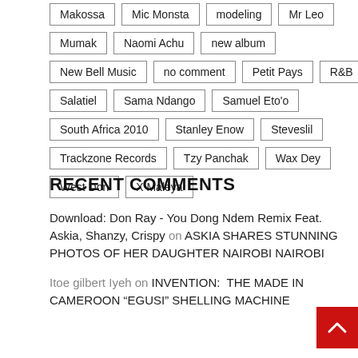Makossa
Mic Monsta
modeling
Mr Leo
Mumak
Naomi Achu
new album
New Bell Music
no comment
Petit Pays
R&B
Salatiel
Sama Ndango
Samuel Eto'o
South Africa 2010
Stanley Enow
Steveslil
Trackzone Records
Tzy Panchak
Wax Dey
West Don
X Maleya
RECENT COMMENTS
Download: Don Ray - You Dong Ndem Remix Feat. Askia, Shanzy, Crispy on ASKIA SHARES STUNNING PHOTOS OF HER DAUGHTER NAIROBI NAIROBI
Itoe gilbert Iyeh on INVENTION:  THE MADE IN CAMEROON "EGUSI" SHELLING MACHINE